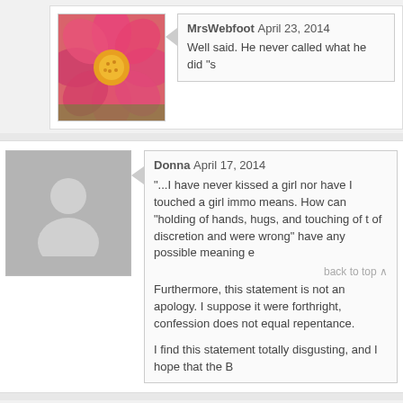MrsWebfoot April 23, 2014 — Well said. He never called what he did "s
Donna April 17, 2014 — "...I have never kissed a girl nor have I touched a girl immo means. How can "holding of hands, hugs, and touching of t of discretion and were wrong" have any possible meaning e Furthermore, this statement is not an apology. I suppose it were forthright, confession does not equal repentance. I find this statement totally disgusting, and I hope that the B
P.L. April 18, 2014 — "Because of the claims about me I do wa Strange, Bill, to my knowledge noone ha